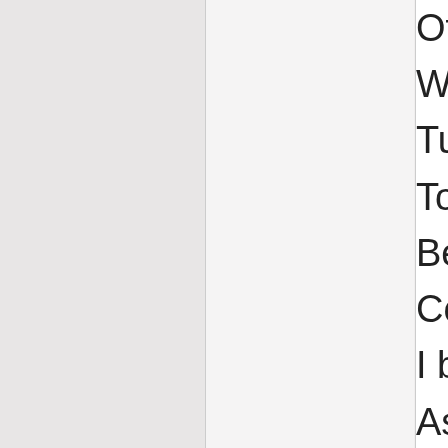Of strong prevailment in unh
With cunning hast thou filch
Turn'd her obedience, which
To stubborn harshness. And
Be it so she will not here be
Consent to marry with Deme
I beg the ancient privilege o
As she is mine I may dispos
Which shall be either to this
Or to her death, according t
Immediately provided in tha
THESEUS. What say you, H
To you your father should be
One that compos'd your bea
To whom you are but as a fo
By him imprinted, and within
To leave the figure, or disfig
Demetrius is a worthy gentle
HERMIA. So is Lysand